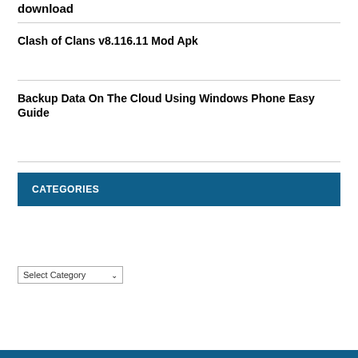download
Clash of Clans v8.116.11 Mod Apk
Backup Data On The Cloud Using Windows Phone Easy Guide
CATEGORIES
Select Category